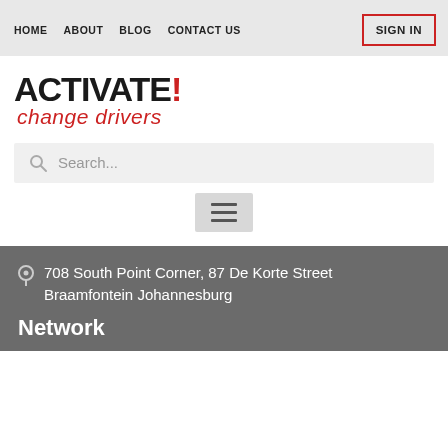HOME  ABOUT  BLOG  CONTACT US
[Figure (logo): ACTIVATE! change drivers logo — bold black uppercase text 'ACTIVATE!' with red exclamation mark, red cursive italic tagline 'change drivers']
Search...
[Figure (other): Hamburger menu icon (three horizontal lines) in a light grey box]
708 South Point Corner, 87 De Korte Street Braamfontein Johannesburg
Network